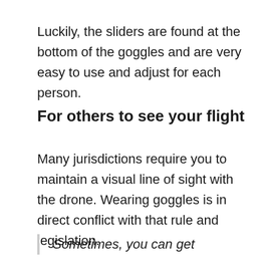Luckily, the sliders are found at the bottom of the goggles and are very easy to use and adjust for each person.
For others to see your flight
Many jurisdictions require you to maintain a visual line of sight with the drone. Wearing goggles is in direct conflict with that rule and legislation.
Sometimes, you can get